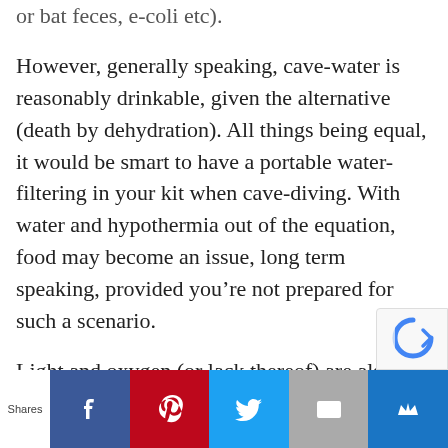or bat feces, e-coli etc).
However, generally speaking, cave-water is reasonably drinkable, given the alternative (death by dehydration). All things being equal, it would be smart to have a portable water-filtering in your kit when cave-diving. With water and hypothermia out of the equation, food may become an issue, long term speaking, provided you’re not prepared for such a scenario.
Light and oxygen (or lack thereof) are also potential issues with regard to surviving if trapped in a cave.
[Figure (infographic): Social sharing bar with Shares label and buttons for Facebook, Pinterest, Twitter, Email, and a crown/bookmark icon, plus a partial reCAPTCHA badge in the bottom right corner.]